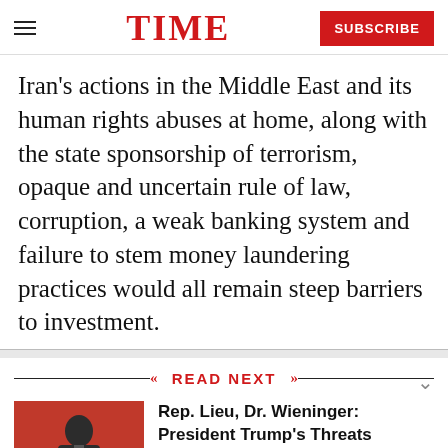TIME | SUBSCRIBE
Iran's actions in the Middle East and its human rights abuses at home, along with the state sponsorship of terrorism, opaque and uncertain rule of law, corruption, a weak banking system and failure to stem money laundering practices would all remain steep barriers to investment.
READ NEXT
[Figure (photo): Photo of a man in a dark suit speaking, in front of a red background]
Rep. Lieu, Dr. Wieninger: President Trump's Threats Against North Korea Put the World in Danger